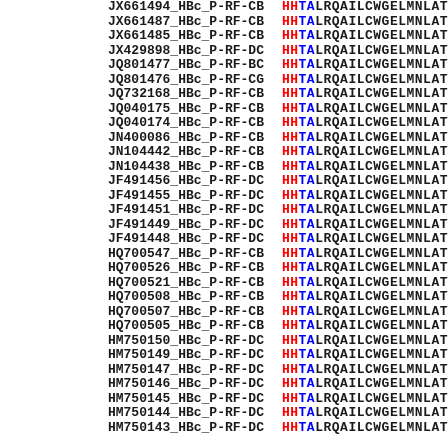[Figure (other): Multiple sequence alignment showing hepatitis B virus core protein (HBc) sequences. Left column: sequence identifiers (accession numbers with HBc_P-RF labels). Right column: amino acid sequences starting with HHTALRQAILCWGELMNLAT... The first two residues H and H are in red, T and A are in blue (conservation coloring), remaining residues in black bold monospace font.]